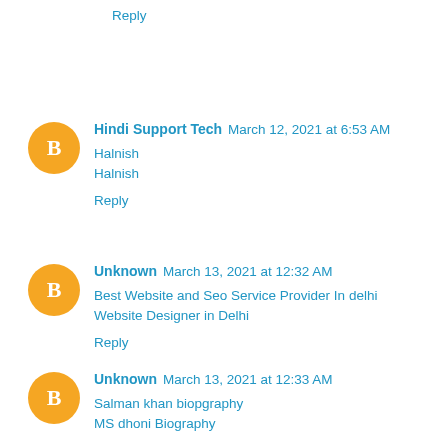Reply
Hindi Support Tech  March 12, 2021 at 6:53 AM
Halnish
Halnish
Reply
Unknown  March 13, 2021 at 12:32 AM
Best Website and Seo Service Provider In delhi
Website Designer in Delhi
Reply
Unknown  March 13, 2021 at 12:33 AM
Salman khan biopgraphy
MS dhoni Biography
Reply